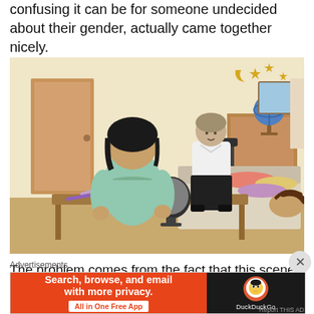confusing it can be for someone undecided about their gender, actually came together nicely.
[Figure (illustration): Anime scene showing two characters in a bedroom. One character (back to viewer, wearing light blue shirt) sits at a desk with makeup items, a round mirror, and other objects. Another character sits on a bed in the background wearing a white shirt and black pants. The room has stars and moon decorations, a globe, a telescope, and clothes on the bed. A third character appears to be lying on the bed in the right corner.]
The problem comes from the fact that this scenes comes on the back of seeing another child being micro-managed and manipulated by his mother to
Advertisements
[Figure (screenshot): DuckDuckGo advertisement banner. Left side orange background reads 'Search, browse, and email with more privacy.' with 'All in One Free App' button. Right side black background shows DuckDuckGo duck logo and brand name.]